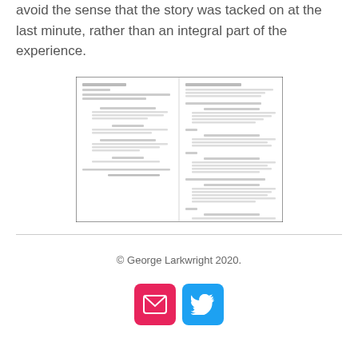avoid the sense that the story was tacked on at the last minute, rather than an integral part of the experience.
[Figure (screenshot): A two-page screenplay/script document showing dialogue and scene descriptions in standard screenplay format, rendered as a small document thumbnail image.]
© George Larkwright 2020.
[Figure (other): Two social media icon buttons: a pink/red email envelope icon and a blue Twitter bird icon.]